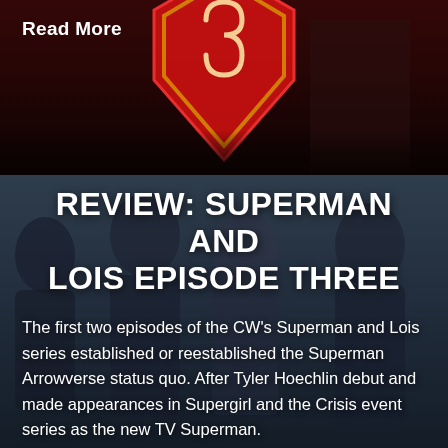[Figure (photo): Top section with dark red background showing Superman logo/shield in red and black, with a partial figure visible]
Read More
[Figure (photo): Dark blue-grey background image showing cast of Superman and Lois TV series - multiple people standing together]
REVIEW: SUPERMAN AND LOIS EPISODE THREE
The first two episodes of the CW's Superman and Lois series established or reestablished the Superman Arrowverse status quo. After Tyler Hoechlin debut and made appearances in Supergirl and the Crisis event series as the new TV Superman.